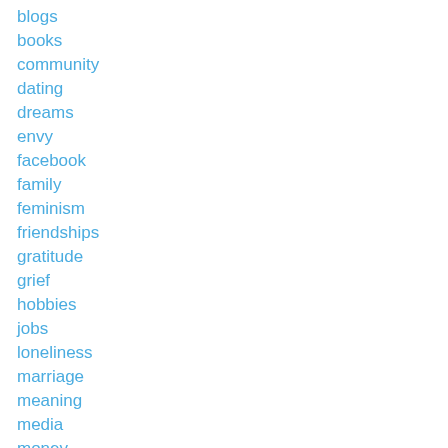blogs
books
community
dating
dreams
envy
facebook
family
feminism
friendships
gratitude
grief
hobbies
jobs
loneliness
marriage
meaning
media
money
motherhood